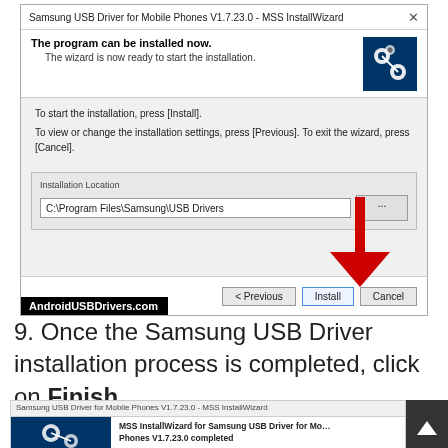[Figure (screenshot): Samsung USB Driver for Mobile Phones V1.7.23.0 - MSS InstallWizard dialog showing 'The program can be installed now.' with installation location field showing C:\Program Files\Samsung\USB Drivers, and buttons: < Previous, Install (highlighted with red arrow), Cancel. AndroidUSBDrivers.com watermark at bottom left.]
9. Once the Samsung USB Driver installation process is completed, click on Finish.
[Figure (screenshot): Samsung USB Driver for Mobile Phones V1.7.23.0 - MSS InstallWizard completion dialog showing 'MSS InstallWizard for Samsung USB Driver for Mobile Phones V1.7.23.0 completed']